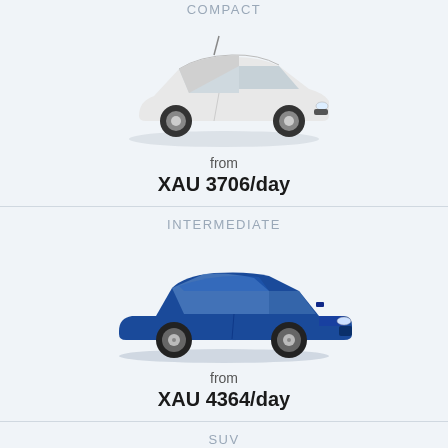COMPACT
[Figure (photo): Small white compact hatchback car (VW Up or similar)]
from
XAU 3706/day
INTERMEDIATE
[Figure (photo): Blue intermediate sedan car (Honda Accord or similar)]
from
XAU 4364/day
SUV
[Figure (photo): Red SUV/sedan car (Mazda 6 or similar), partially visible]